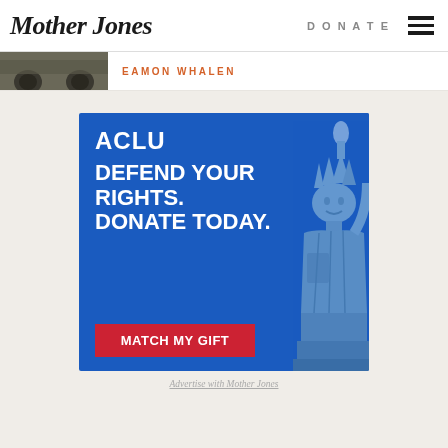Mother Jones | DONATE
[Figure (photo): Cropped photo of vehicle wheels/tires on grass]
EAMON WHALEN
[Figure (infographic): ACLU advertisement: ACLU logo, text 'DEFEND YOUR RIGHTS. DONATE TODAY.' with red button 'MATCH MY GIFT' and Statue of Liberty illustration on blue background]
Advertise with Mother Jones